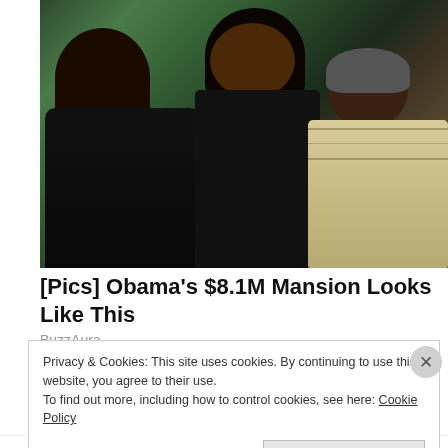[Figure (photo): A family photo of three people posing together outdoors in front of trees. A woman with long dark hair wearing a black outfit is on the left, a young woman in a black tank top with a necklace is in the center, and an older man in a plaid shirt is on the right, smiling.]
[Pics] Obama's $8.1M Mansion Looks Like This
BuzzAura
Privacy & Cookies: This site uses cookies. By continuing to use this website, you agree to their use.
To find out more, including how to control cookies, see here: Cookie Policy
Close and accept